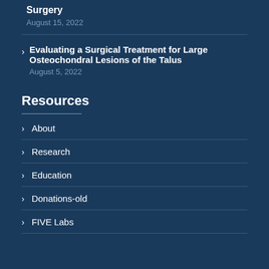Surgery — August 15, 2022
Evaluating a Surgical Treatment for Large Osteochondral Lesions of the Talus — August 5, 2022
Resources
About
Research
Education
Donations-old
FIVE Labs